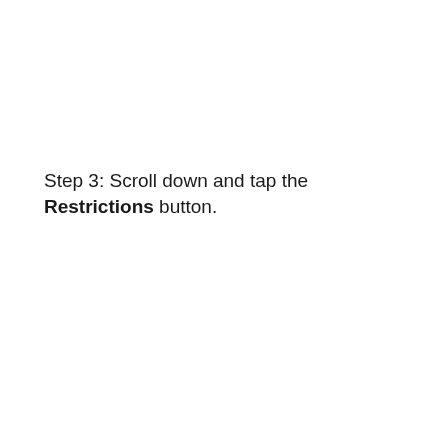Step 3: Scroll down and tap the Restrictions button.